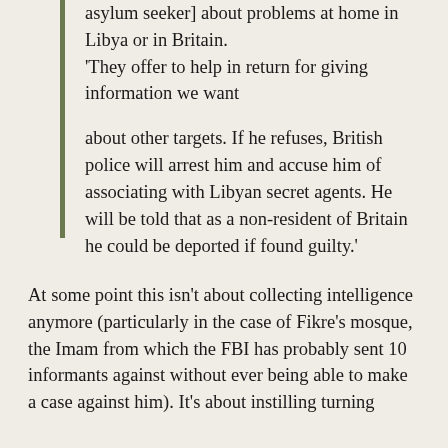asylum seeker] about problems at home in Libya or in Britain. 'They offer to help in return for giving information we want

about other targets. If he refuses, British police will arrest him and accuse him of associating with Libyan secret agents. He will be told that as a non-resident of Britain he could be deported if found guilty.'
At some point this isn't about collecting intelligence anymore (particularly in the case of Fikre's mosque, the Imam from which the FBI has probably sent 10 informants against without ever being able to make a case against him). It's about instilling turning